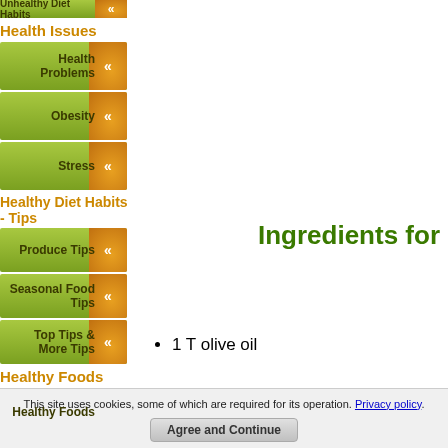Unhealthy Diet Habits
Health Issues
Health Problems
Obesity
Stress
Healthy Diet Habits - Tips
Produce Tips
Seasonal Food Tips
Top Tips & More Tips
Healthy Foods
Healthy Foods
Organic Foods
Ingredients for
1 T olive oil
This site uses cookies, some of which are required for its operation. Privacy policy
Agree and Continue